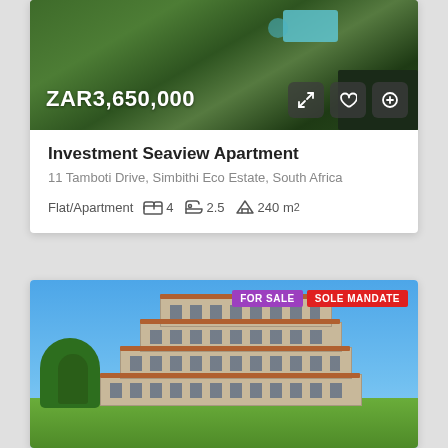[Figure (photo): Aerial view of property with swimming pool and green trees, showing ZAR3,650,000 price tag and action buttons]
Investment Seaview Apartment
11 Tamboti Drive, Simbithi Eco Estate, South Africa
Flat/Apartment   4   2.5   240 m²
[Figure (photo): Exterior photo of multi-storey apartment building with red-tiled balconies on a hillside against blue sky, tagged FOR SALE and SOLE MANDATE]